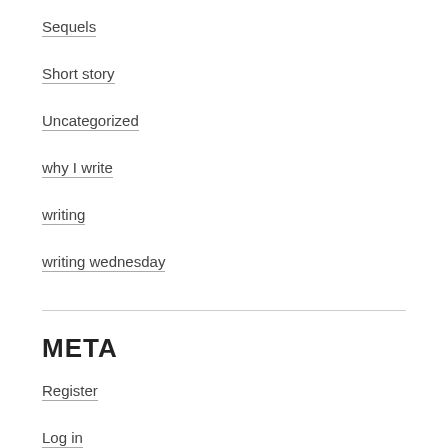Sequels
Short story
Uncategorized
why I write
writing
writing wednesday
META
Register
Log in
Entries feed
Comments feed
WordPress.com